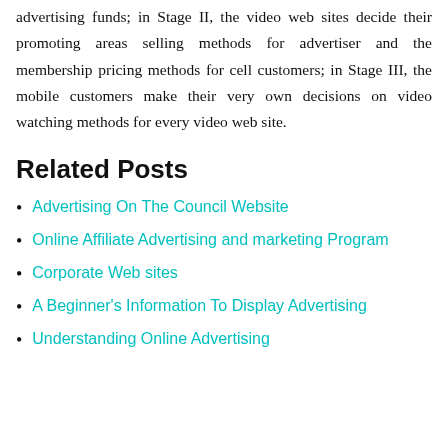advertising funds; in Stage II, the video web sites decide their promoting areas selling methods for advertiser and the membership pricing methods for cell customers; in Stage III, the mobile customers make their very own decisions on video watching methods for every video web site.
Related Posts
Advertising On The Council Website
Online Affiliate Advertising and marketing Program
Corporate Web sites
A Beginner's Information To Display Advertising
Understanding Online Advertising